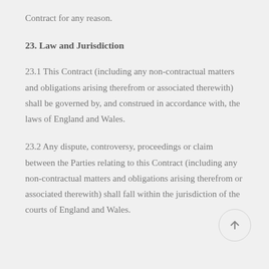Contract for any reason.
23. Law and Jurisdiction
23.1 This Contract (including any non-contractual matters and obligations arising therefrom or associated therewith) shall be governed by, and construed in accordance with, the laws of England and Wales.
23.2 Any dispute, controversy, proceedings or claim between the Parties relating to this Contract (including any non-contractual matters and obligations arising therefrom or associated therewith) shall fall within the jurisdiction of the courts of England and Wales.